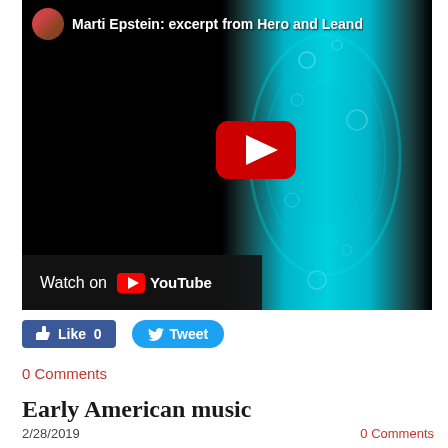[Figure (screenshot): YouTube video embed showing 'Marti Epstein: excerpt from Hero and Leand...' with a teal/cyan glowing panel image, a red YouTube play button in the center, and a 'Watch on YouTube' overlay bar at the bottom-left.]
Like 0
Tweet
0 Comments
Early American music
2/28/2019
0 Comments